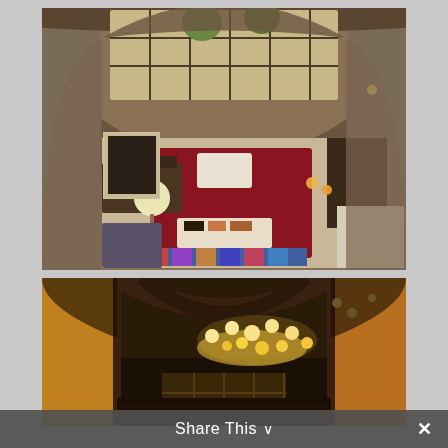[Figure (photo): Aerial/overhead view of a hotel or residential lobby interior with arched stone walls, red carpet, globe lamp, framed artwork, dark wood furniture, colorful striped rug, and large glass facade at the far end. Warm lighting.]
[Figure (photo): Interior corridor or entrance hall viewed from below, showing an arched ceiling with a decorative chandelier of multiple globe lights, dark architectural beams, and glass grid doors/windows at the far end. Very dark, moody warm-toned lighting.]
Share This ∨  ✕